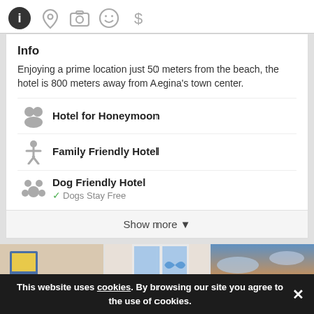[Figure (screenshot): Tab bar with icons: info (active, dark circle with i), location pin, camera, smiley face, dollar sign]
Info
Enjoying a prime location just 50 meters from the beach, the hotel is 800 meters away from Aegina's town center.
Hotel for Honeymoon
Family Friendly Hotel
Dog Friendly Hotel
✓ Dogs Stay Free
Show more ▾
[Figure (photo): Three hotel room and landscape photos side by side: blue-pillowed bedroom, outdoor view through window, sunset landscape]
Categories  1
This website uses cookies. By browsing our site you agree to the use of cookies.